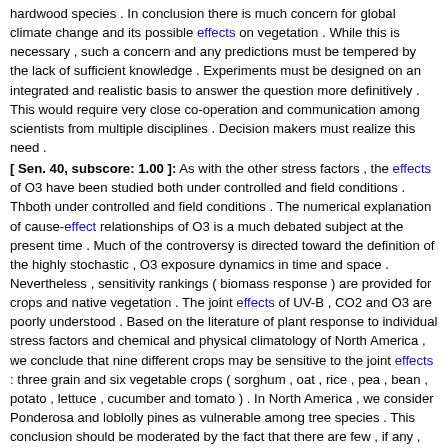hardwood species . In conclusion there is much concern for global climate change and its possible effects on vegetation . While this is necessary , such a concern and any predictions must be tempered by the lack of sufficient knowledge . Experiments must be designed on an integrated and realistic basis to answer the question more definitively . This would require very close co-operation and communication among scientists from multiple disciplines . Decision makers must realize this need .
[ Sen. 40, subscore: 1.00 ]: As with the other stress factors , the effects of O3 have been studied both under controlled and field conditions . Thboth under controlled and field conditions . The numerical explanation of cause-effect relationships of O3 is a much debated subject at the present time . Much of the controversy is directed toward the definition of the highly stochastic , O3 exposure dynamics in time and space . Nevertheless , sensitivity rankings ( biomass response ) are provided for crops and native vegetation . The joint effects of UV-B , CO2 and O3 are poorly understood . Based on the literature of plant response to individual stress factors and chemical and physical climatology of North America , we conclude that nine different crops may be sensitive to the joint effects : three grain and six vegetable crops ( sorghum , oat , rice , pea , bean , potato , lettuce , cucumber and tomato ) . In North America , we consider Ponderosa and loblolly pines as vulnerable among tree species . This conclusion should be moderated by the fact that there are few , if any , data on hardwood species . In conclusion there is much concern for global climate change and its possible effects on vegetation . While this is necessary , such a concern and any predictions must be tempered by the lack of sufficient knowledge . Experiments must be designed on an integrated and realistic basis to answer the question more definitively . This would require very close co-operation and communication among scientists from multiple disciplines .